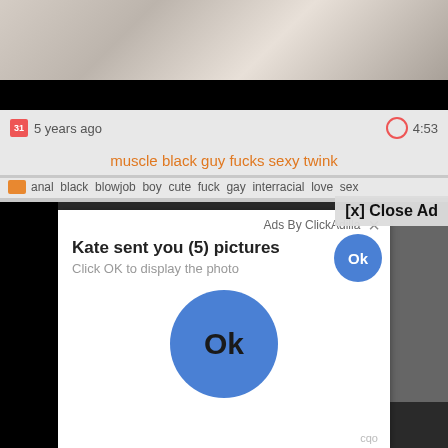[Figure (screenshot): Screenshot of a video website showing a video thumbnail at the top (partially visible), metadata row with '5 years ago' and '4:53' duration, video title in orange, tags row, and a bottom video area. An advertisement popup overlay from ClickAdilla is displayed with 'Kate sent you (5) pictures', 'Click OK to display the photo', an Ok button, and a large blue Ok circle button.]
5 years ago
4:53
muscle black guy fucks sexy twink
anal  black  blowjob  boy  cute  fuck  gay  interracial  love  sex
[x] Close Ad
Ads By ClickAdilla
Kate sent you (5) pictures
Click OK to display the photo
Ok
Ok
cqo